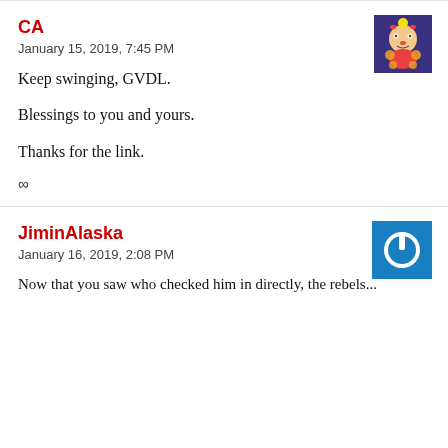CA
January 15, 2019, 7:45 PM
Keep swinging, GVDL.
Blessings to you and yours.
Thanks for the link.
∞
[Figure (illustration): Avatar image of a clown character with colorful costume]
JiminAlaska
January 16, 2019, 2:08 PM
[Figure (illustration): Blue square avatar with white power button icon]
Now that you saw who checked him in directly, the rebels...